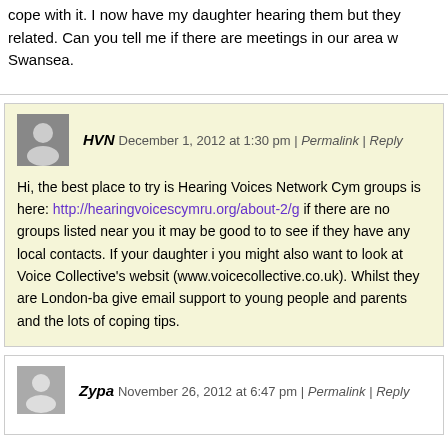cope with it. I now have my daughter hearing them but they related. Can you tell me if there are meetings in our area w Swansea.
HVN December 1, 2012 at 1:30 pm | Permalink | Reply
Hi, the best place to try is Hearing Voices Network Cym groups is here: http://hearingvoicescymru.org/about-2/g if there are no groups listed near you it may be good to to see if they have any local contacts. If your daughter i you might also want to look at Voice Collective's websit (www.voicecollective.co.uk). Whilst they are London-ba give email support to young people and parents and the lots of coping tips.
Zypa November 26, 2012 at 6:47 pm | Permalink | Reply